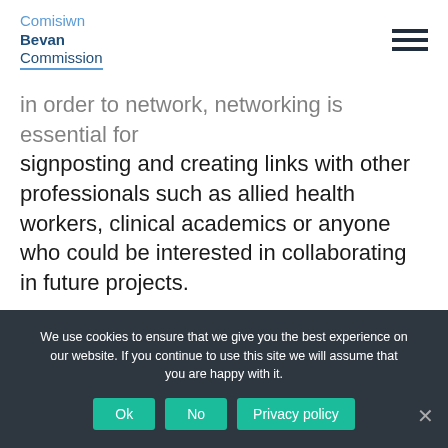Comisiwn Bevan Commission
in order to network, networking is essential for signposting and creating links with other professionals such as allied health workers, clinical academics or anyone who could be interested in collaborating in future projects.
I hope to use my position as a Bevan Fellow to develop links with experts who have experience
We use cookies to ensure that we give you the best experience on our website. If you continue to use this site we will assume that you are happy with it. Ok No Privacy policy